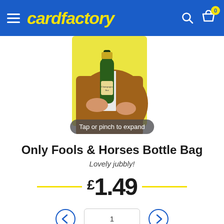cardfactory
[Figure (photo): A man in a brown suit holding a champagne bottle, photographed from chest down, with a yellow bag visible behind him. 'Tap or pinch to expand' pill overlay at the bottom.]
Only Fools & Horses Bottle Bag
Lovely jubbly!
£1.49